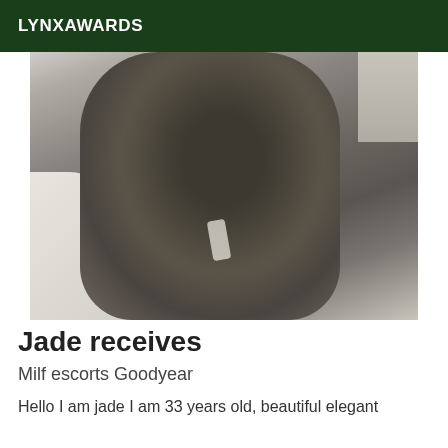LYNXAWARDS
[Figure (photo): Close-up photo showing dark grey fabric/clothing against a light background]
Jade receives
Milf escorts Goodyear
Hello I am jade I am 33 years old, beautiful elegant